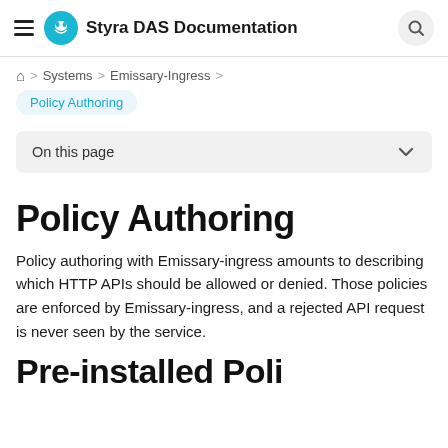Styra DAS Documentation
Home > Systems > Emissary-Ingress > Policy Authoring
On this page
Policy Authoring
Policy authoring with Emissary-ingress amounts to describing which HTTP APIs should be allowed or denied. Those policies are enforced by Emissary-ingress, and a rejected API request is never seen by the service.
Pre-installed Poli...